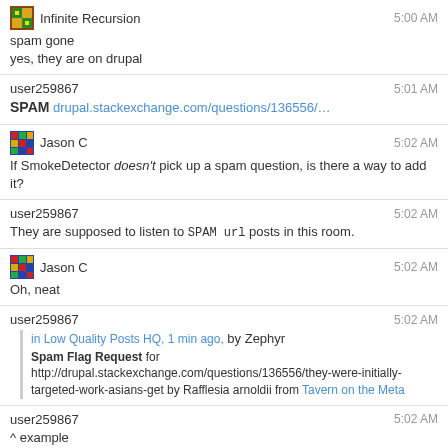Infinite Recursion 5:00 AM
spam gone
yes, they are on drupal
user259867 5:01 AM
SPAM drupal.stackexchange.com/questions/136556/...
Jason C 5:02 AM
If SmokeDetector doesn't pick up a spam question, is there a way to add it?
user259867 5:02 AM
They are supposed to listen to SPAM url posts in this room.
Jason C 5:02 AM
Oh, neat
user259867 5:02 AM
in Low Quality Posts HQ, 1 min ago, by Zephyr
Spam Flag Request for http://drupal.stackexchange.com/questions/136556/they-were-initially-targeted-work-asians-get by Rafflesia arnoldii from Tavern on the Meta
user259867 5:02 AM
^ example
Infinite Recursion 5:03 AM
no, Smokey uses regex to check if any bad words are present in the title...this post didn't have any bad keyword - "They were initially targeted work Asians get"